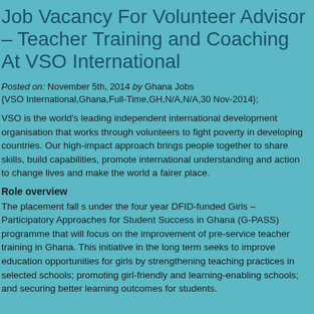Job Vacancy For Volunteer Advisor – Teacher Training and Coaching At VSO International
Posted on: November 5th, 2014 by Ghana Jobs
{VSO International,Ghana,Full-Time,GH,N/A,N/A,30 Nov-2014};
VSO is the world's leading independent international development organisation that works through volunteers to fight poverty in developing countries. Our high-impact approach brings people together to share skills, build capabilities, promote international understanding and action to change lives and make the world a fairer place.
Role overview
The placement fall s under the four year DFID-funded Girls – Participatory Approaches for Student Success in Ghana (G-PASS) programme that will focus on the improvement of pre-service teacher training in Ghana. This initiative in the long term seeks to improve education opportunities for girls by strengthening teaching practices in selected schools; promoting girl-friendly and learning-enabling schools; and securing better learning outcomes for students.